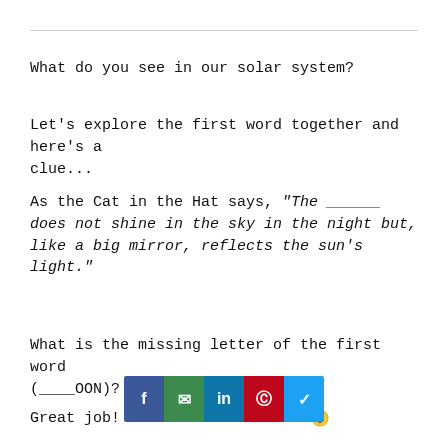What do you see in our solar system?
Let's explore the first word together and here's a clue...
As the Cat in the Hat says, “The ______ does not shine in the sky in the night but, like a big mirror, reflects the sun’s light.”
What is the missing letter of the first word (____OON)?
Great job!  It’s the letter M. 🙂
Now let’s co...rsing